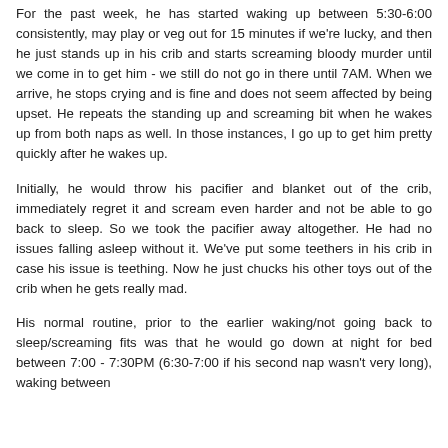For the past week, he has started waking up between 5:30-6:00 consistently, may play or veg out for 15 minutes if we're lucky, and then he just stands up in his crib and starts screaming bloody murder until we come in to get him - we still do not go in there until 7AM. When we arrive, he stops crying and is fine and does not seem affected by being upset. He repeats the standing up and screaming bit when he wakes up from both naps as well. In those instances, I go up to get him pretty quickly after he wakes up.
Initially, he would throw his pacifier and blanket out of the crib, immediately regret it and scream even harder and not be able to go back to sleep. So we took the pacifier away altogether. He had no issues falling asleep without it. We've put some teethers in his crib in case his issue is teething. Now he just chucks his other toys out of the crib when he gets really mad.
His normal routine, prior to the earlier waking/not going back to sleep/screaming fits was that he would go down at night for bed between 7:00 - 7:30PM (6:30-7:00 if his second nap wasn't very long), waking between